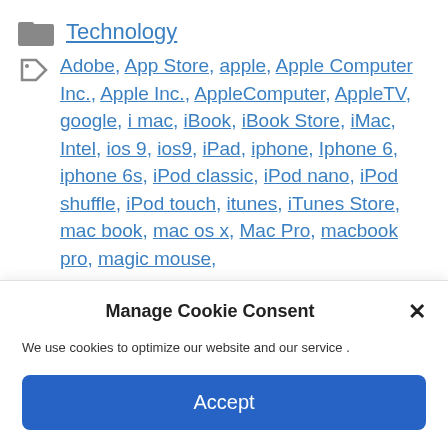Technology
Adobe, App Store, apple, Apple Computer Inc., Apple Inc., AppleComputer, AppleTV, google, i mac, iBook, iBook Store, iMac, Intel, ios 9, ios9, iPad, iphone, Iphone 6, iphone 6s, iPod classic, iPod nano, iPod shuffle, iPod touch, itunes, iTunes Store, mac book, mac os x, Mac Pro, macbook pro, magic mouse,
Manage Cookie Consent
We use cookies to optimize our website and our service .
Accept